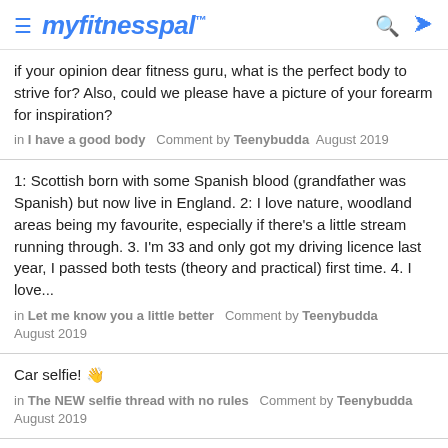myfitnesspal
if your opinion dear fitness guru, what is the perfect body to strive for? Also, could we please have a picture of your forearm for inspiration?
in I have a good body   Comment by Teenybudda   August 2019
1: Scottish born with some Spanish blood (grandfather was Spanish) but now live in England. 2: I love nature, woodland areas being my favourite, especially if there's a little stream running through. 3. I'm 33 and only got my driving licence last year, I passed both tests (theory and practical) first time. 4. I love...
in Let me know you a little better   Comment by Teenybudda   August 2019
Car selfie! 👋
in The NEW selfie thread with no rules   Comment by Teenybudda   August 2019